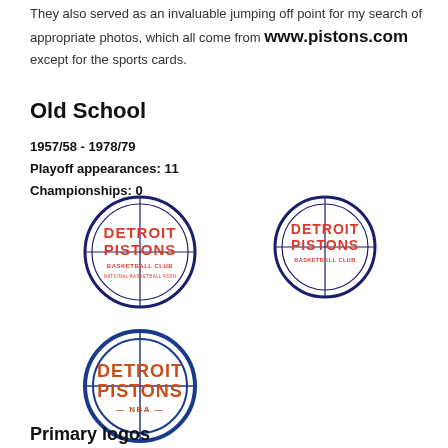They also served as an invaluable jumping off point for my search of appropriate photos, which all come from www.pistons.com except for the sports cards.
Old School
1957/58 - 1978/79
Playoff appearances: 11
Championships: 0
[Figure (logo): Detroit Pistons Basketball Club National Basketball Assn circular logo (dark blue outline, red text)]
[Figure (logo): Detroit Pistons Basketball Club circular logo (dark blue outline, red text, slightly smaller version)]
[Figure (logo): Detroit Pistons NBA circular logo (blue outline, orange/red text, NBA label at bottom)]
Primary logos